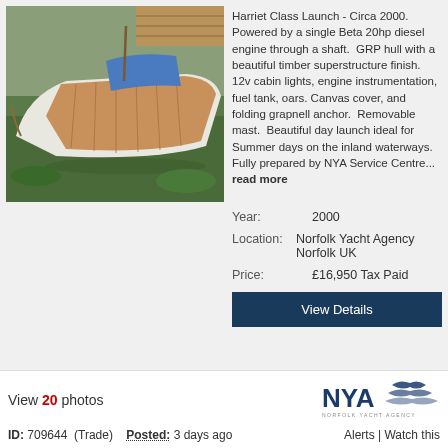[Figure (photo): Photograph of a Harriet Class Launch wooden boat on water, viewed from bow angle, moored near a dock with green water plants visible.]
Harriet Class Launch - Circa 2000. Powered by a single Beta 20hp diesel engine through a shaft. GRP hull with a beautiful timber superstructure finish. 12v cabin lights, engine instrumentation, fuel tank, oars. Canvas cover, and folding grapnell anchor. Removable mast. Beautiful day launch ideal for Summer days on the inland waterways. Fully prepared by NYA Service Centre... read more
Year: 2000
Location: Norfolk Yacht Agency Norfolk UK
Price: £16,950 Tax Paid
View Details
View 20 photos
[Figure (logo): NYA Norfolk Yacht Agency logo]
ID: 709644 (Trade)   Posted: 3 days ago   Alerts | Watch this